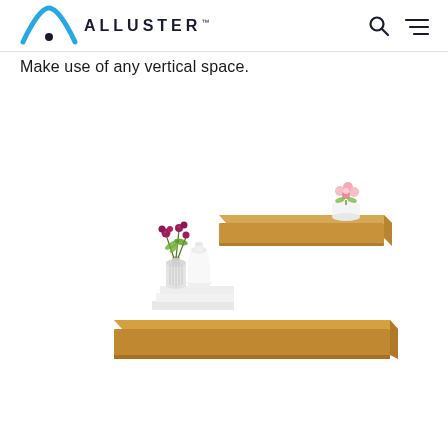ALLUSTER™
Make use of any vertical space.
[Figure (photo): Two wooden floating wall shelves displayed at staggered heights. The upper (smaller) shelf has a white pot with a pink flower on it. The lower (larger) shelf has two white ceramic vases with pink/purple flowers, and a stack of white books on top of it.]